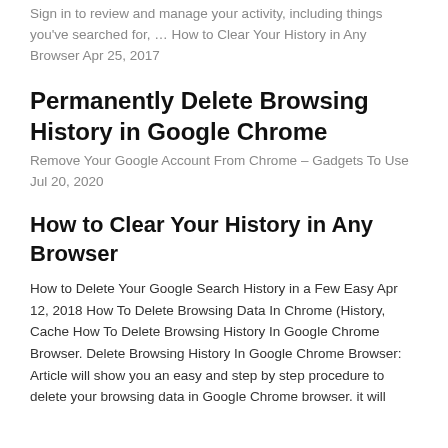Sign in to review and manage your activity, including things you've searched for, … How to Clear Your History in Any Browser Apr 25, 2017
Permanently Delete Browsing History in Google Chrome
Remove Your Google Account From Chrome – Gadgets To Use Jul 20, 2020
How to Clear Your History in Any Browser
How to Delete Your Google Search History in a Few Easy Apr 12, 2018 How To Delete Browsing Data In Chrome (History, Cache How To Delete Browsing History In Google Chrome Browser. Delete Browsing History In Google Chrome Browser: Article will show you an easy and step by step procedure to delete your browsing data in Google Chrome browser. it will